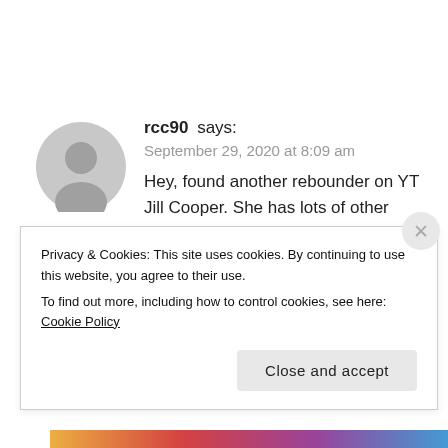[Figure (illustration): Gray circular avatar/user profile icon]
rcc90 says:
September 29, 2020 at 8:09 am
Hey, found another rebounder on YT Jill Cooper. She has lots of other workouts but I did save some of the rebounding ones. She teaches in Spanish. I only know basic Spanish
Privacy & Cookies: This site uses cookies. By continuing to use this website, you agree to their use.
To find out more, including how to control cookies, see here: Cookie Policy
Close and accept